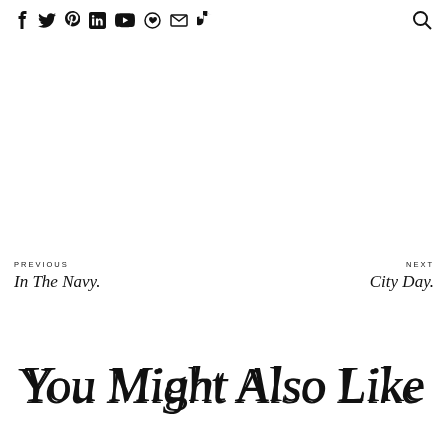f  twitter  pinterest  in  youtube  circle  mail  tiktok  [search]
PREVIOUS
In The Navy.
NEXT
City Day.
You Might Also Like These: